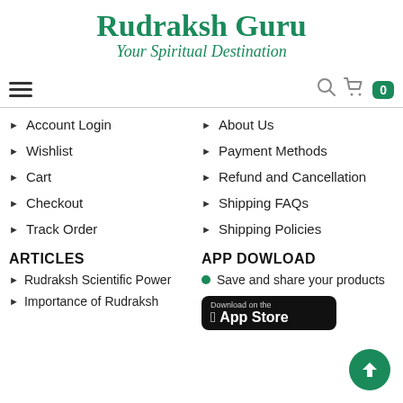Rudraksh Guru
Your Spiritual Destination
Account Login
Wishlist
Cart
Checkout
Track Order
About Us
Payment Methods
Refund and Cancellation
Shipping FAQs
Shipping Policies
ARTICLES
APP DOWLOAD
Rudraksh Scientific Power
Importance of Rudraksh
Save and share your products
[Figure (logo): Download on the App Store button]